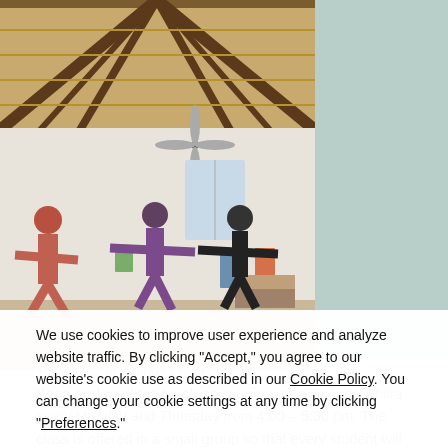[Figure (photo): Interior of a yoga studio with exposed wooden beam ceiling, ceiling fan, and three people doing yoga warrior pose. Room has white walls, posters, and wooden floor.]
Yoga class at Ananda Dhiira
We use cookies to improve user experience and analyze website traffic. By clicking “Accept,” you agree to our website’s cookie use as described in our Cookie Policy. You can change your cookie settings at any time by clicking “Preferences.”
Decline
Accept
Preferences
Yoga and meditation class is going on in Ananda Dhiira every Monday and Thursday from 4:00 – 5:30 pm. The class is offered in a small group so that every student will